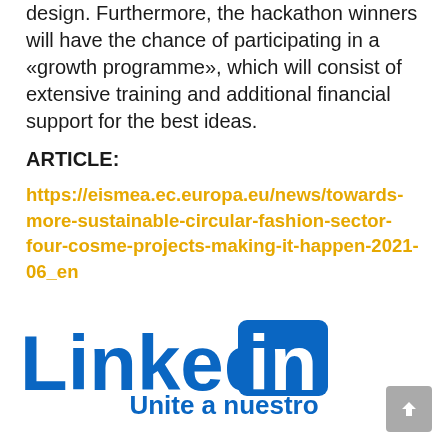design. Furthermore, the hackathon winners will have the chance of participating in a «growth programme», which will consist of extensive training and additional financial support for the best ideas.
ARTICLE:
https://eismea.ec.europa.eu/news/towards-more-sustainable-circular-fashion-sector-four-cosme-projects-making-it-happen-2021-06_en
[Figure (logo): LinkedIn logo in blue]
Unite a nuestro